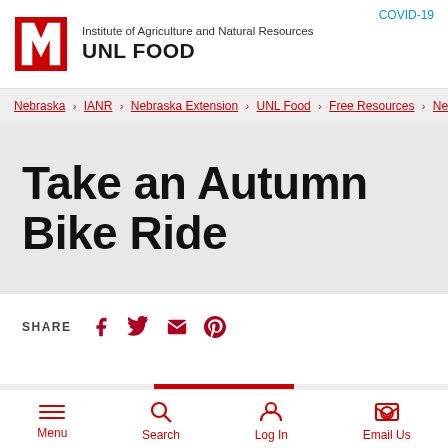COVID-19 | Institute of Agriculture and Natural Resources | UNL FOOD
Nebraska › IANR › Nebraska Extension › UNL Food › Free Resources › Newsle
Take an Autumn Bike Ride
SHARE
Menu | Search | Log In | Email Us